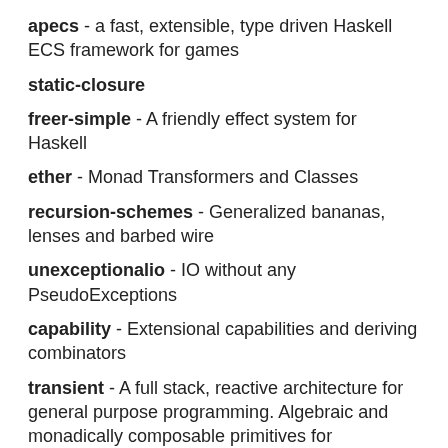apecs - a fast, extensible, type driven Haskell ECS framework for games
static-closure
freer-simple - A friendly effect system for Haskell
ether - Monad Transformers and Classes
recursion-schemes - Generalized bananas, lenses and barbed wire
unexceptionalio - IO without any PseudoExceptions
capability - Extensional capabilities and deriving combinators
transient - A full stack, reactive architecture for general purpose programming. Algebraic and monadically composable primitives for concurrency, parallelism, event handling, transactions, multithreading, Web, and